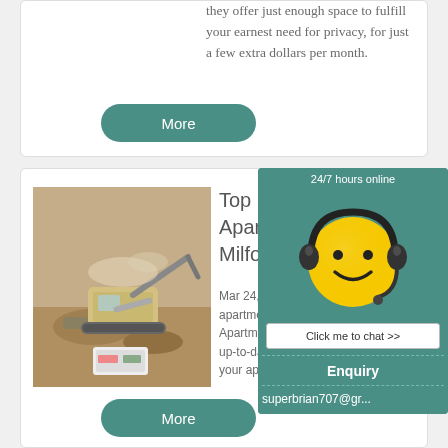they offer just enough space to fulfill your earnest need for privacy, for just a few extra dollars per month.
More
[Figure (photo): Construction site or mining equipment photo]
Top 190 1 Bedroom Apartments for ... Milford Mill, M...
Mar 24, 2021  Find to... apartments in Milford... Apartment List's pers... up-to-date prices, and... your apartment search...
More
[Figure (infographic): 24/7 hours online chat widget with smiley face wearing headset, Click me to chat >> button, Enquiry section, and email superbrian707@gr...]